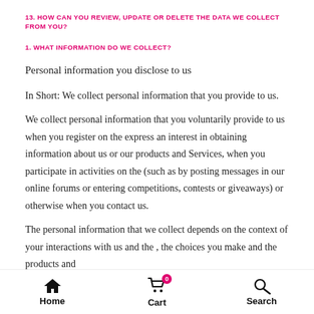13. HOW CAN YOU REVIEW, UPDATE OR DELETE THE DATA WE COLLECT FROM YOU?
1. WHAT INFORMATION DO WE COLLECT?
Personal information you disclose to us
In Short: We collect personal information that you provide to us.
We collect personal information that you voluntarily provide to us when you register on the express an interest in obtaining information about us or our products and Services, when you participate in activities on the (such as by posting messages in our online forums or entering competitions, contests or giveaways) or otherwise when you contact us.
The personal information that we collect depends on the context of your interactions with us and the , the choices you make and the products and services you use.
Home  Cart  Search